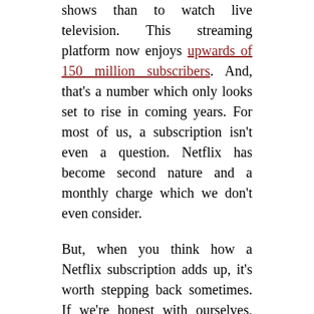shows than to watch live television. This streaming platform now enjoys upwards of 150 million subscribers. And, that's a number which only looks set to rise in coming years. For most of us, a subscription isn't even a question. Netflix has become second nature and a monthly charge which we don't even consider.

But, when you think how a Netflix subscription adds up, it's worth stepping back sometimes. If we're honest with ourselves, many of us would admit to not using this platform enough to justify the cost. If that's the case, the good news is that it's easy enough to turn Netflix off at short notice and pick up your subscription again later.

Of course, that does mean leaving yourself a little out of the loop. The latest Netflix shows do, after all, cause quite the stir, and become everyday conversation